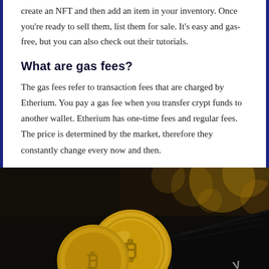create an NFT and then add an item in your inventory. Once you're ready to sell them, list them for sale. It's easy and gas-free, but you can also check out their tutorials.
What are gas fees?
The gas fees refer to transaction fees that are charged by Etherium. You pay a gas fee when you transfer crypt funds to another wallet. Etherium has one-time fees and regular fees. The price is determined by the market, therefore they constantly change every now and then.
[Figure (photo): Close-up photo of gold Bitcoin coins stacked on a dark surface next to a black hardware wallet device, with bokeh background lighting.]